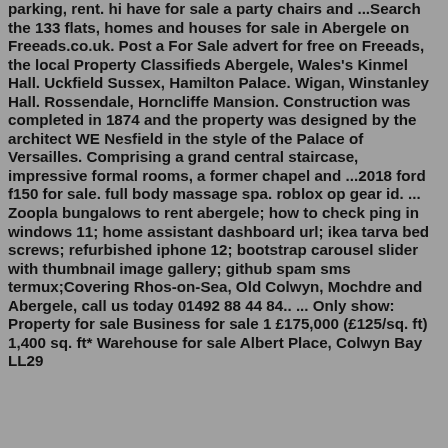parking, rent. hi have for sale a party chairs and ...Search the 133 flats, homes and houses for sale in Abergele on Freeads.co.uk. Post a For Sale advert for free on Freeads, the local Property Classifieds Abergele, Wales's Kinmel Hall. Uckfield Sussex, Hamilton Palace. Wigan, Winstanley Hall. Rossendale, Horncliffe Mansion. Construction was completed in 1874 and the property was designed by the architect WE Nesfield in the style of the Palace of Versailles. Comprising a grand central staircase, impressive formal rooms, a former chapel and ...2018 ford f150 for sale. full body massage spa. roblox op gear id. ... Zoopla bungalows to rent abergele; how to check ping in windows 11; home assistant dashboard url; ikea tarva bed screws; refurbished iphone 12; bootstrap carousel slider with thumbnail image gallery; github spam sms termux;Covering Rhos-on-Sea, Old Colwyn, Mochdre and Abergele, call us today 01492 88 44 84.. ... Only show: Property for sale Business for sale 1 £175,000 (£125/sq. ft) 1,400 sq. ft* Warehouse for sale Albert Place, Colwyn Bay LL29